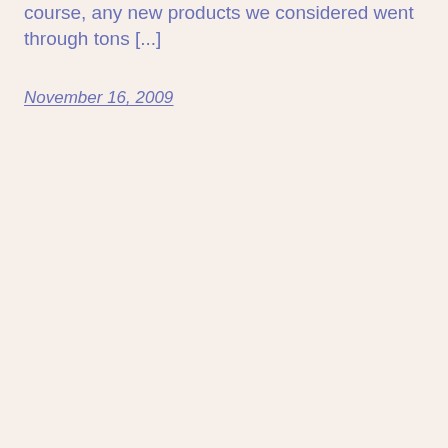course, any new products we considered went through tons [...]
November 16, 2009
1 2   Next Page →